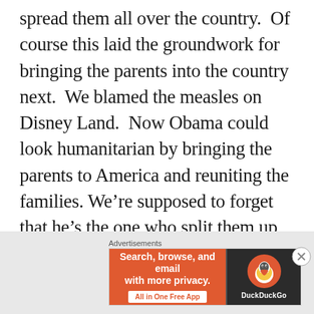spread them all over the country.  Of course this laid the groundwork for bringing the parents into the country next.  We blamed the measles on Disney Land.  Now Obama could look humanitarian by bringing the parents to America and reuniting the families. We're supposed to forget that he's the one who split them up in the first place.  I think it would only be consistent with this new found tradition of transporting children first if we doubled the price of bounties on children.  Create an incentive to deport them
[Figure (other): DuckDuckGo advertisement banner: orange left section with text 'Search, browse, and email with more privacy. All in One Free App', dark right section with DuckDuckGo logo and brand name.]